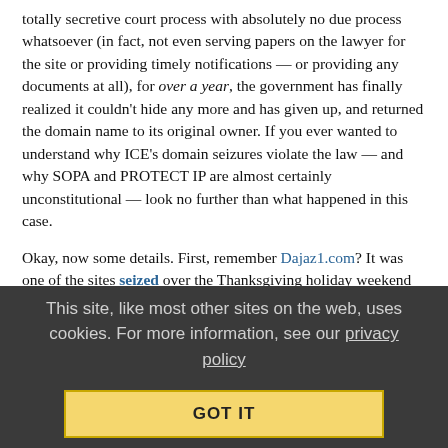totally secretive court process with absolutely no due process whatsoever (in fact, not even serving papers on the lawyer for the site or providing timely notifications — or providing any documents at all), for over a year, the government has finally realized it couldn't hide any more and has given up, and returned the domain name to its original owner. If you ever wanted to understand why ICE's domain seizures violate the law — and why SOPA and PROTECT IP are almost certainly unconstitutional — look no further than what happened in this case.
Okay, now some details. First, remember Dajaz1.com? It was one of the sites seized over the Thanksgiving holiday weekend back in 2010 — a little over a year ago. Those seizures struck us as particularly interesting, because among the sites seized were a bunch of hip hop blogs, including a few that were highly ranked on Vibe's list of the top hip hop blogs. These weren't the kinds of things anyone would expect, when supporters of these domain seizures and laws like SOPA and PROTECT IP talk of "rogue sites." Blogs
This site, like most other sites on the web, uses cookies. For more information, see our privacy policy
GOT IT